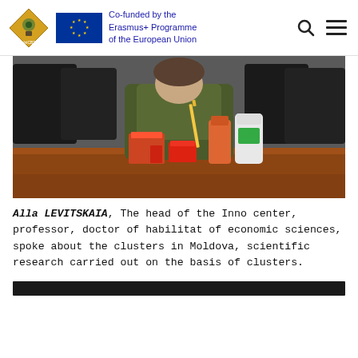Co-funded by the Erasmus+ Programme of the European Union
[Figure (photo): Person sitting at a brown conference table with dairy products and food items on the table, chairs visible in background]
Alla LEVITSKAIA, The head of the Inno center, professor, doctor of habilitat of economic sciences, spoke about the clusters in Moldova, scientific research carried out on the basis of clusters.
[Figure (photo): Dark bar/strip at bottom of page, partially visible image]